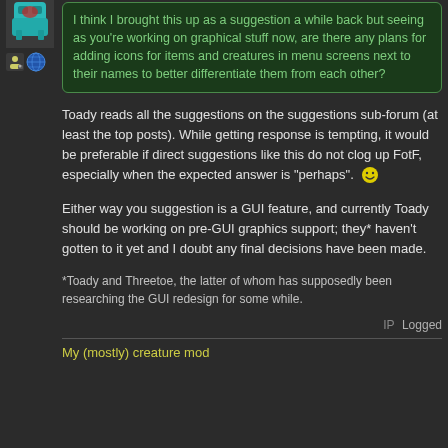[Figure (illustration): User avatar - small pixelated creature graphic at top left, teal/cyan colored]
[Figure (illustration): User icons - small person icon and globe/world icon]
I think I brought this up as a suggestion a while back but seeing as you're working on graphical stuff now, are there any plans for adding icons for items and creatures in menu screens next to their names to better differentiate them from each other?
Toady reads all the suggestions on the suggestions sub-forum (at least the top posts). While getting response is tempting, it would be preferable if direct suggestions like this do not clog up FotF, especially when the expected answer is "perhaps". 🙂
Either way you suggestion is a GUI feature, and currently Toady should be working on pre-GUI graphics support; they* haven't gotten to it yet and I doubt any final decisions have been made.
*Toady and Threetoe, the latter of whom has supposedly been researching the GUI redesign for some while.
IP Logged
My (mostly) creature mod